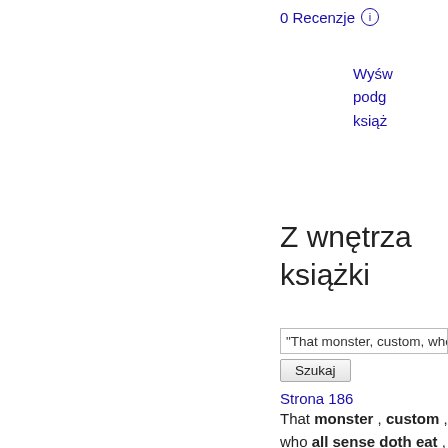0 Recenzje (i)
Wyśw podg książ
Z wnętrza książki
"That monster, custom, who
Szukaj
Strona 186
That monster , custom , who all sense doth eat , Of habits devil , is angel yet in this , That to the use of actions fair and good He likewise gives a frock or livery , That aptly is put on . Refrain to - night , And that shall lend a